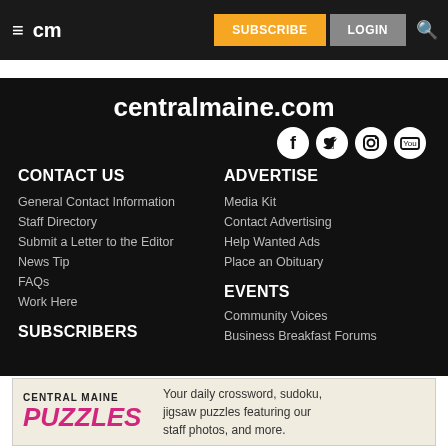cm | SUBSCRIBE LOGIN
centralmaine.com
CONTACT US
General Contact Information
Staff Directory
Submit a Letter to the Editor
News Tip
FAQs
Work Here
ADVERTISE
Media Kit
Contact Advertising
Help Wanted Ads
Place an Obituary
EVENTS
Community Voices
Business Breakfast Forums
SUBSCRIBERS
CENTRAL MAINE PUZZLES — Your daily crossword, sudoku, jigsaw puzzles featuring our staff photos, and more.